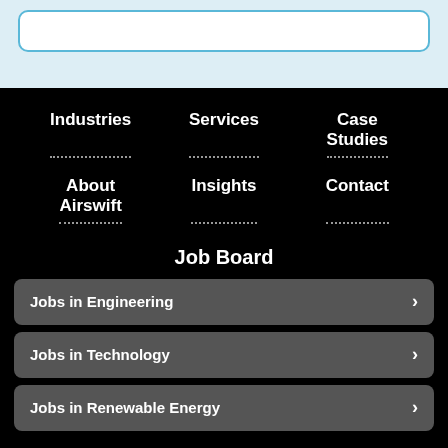Industries
Services
Case Studies
About Airswift
Insights
Contact
Job Board
Jobs in Engineering
Jobs in Technology
Jobs in Renewable Energy